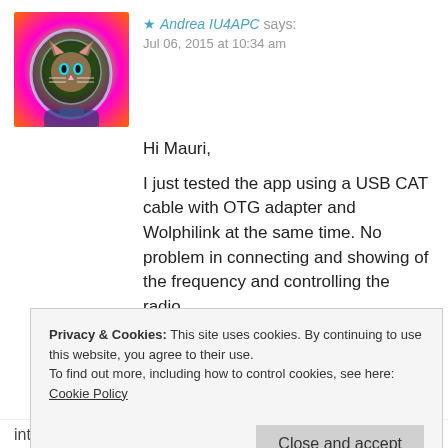★ Andrea IU4APC says: Jul 06, 2015 at 10:34 am
Hi Mauri,
I just tested the app using a USB CAT cable with OTG adapter and Wolphilink at the same time. No problem in connecting and showing of the frequency and controlling the radio.
Did you solve?
72/73 Andrea IU4APC
★ Like
Privacy & Cookies: This site uses cookies. By continuing to use this website, you agree to their use.
To find out more, including how to control cookies, see here: Cookie Policy
Close and accept
interface, not OTG wire. Its not working even with